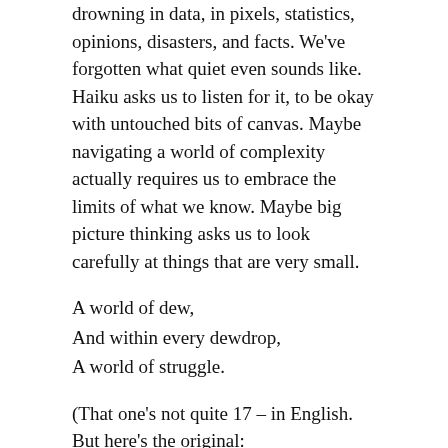drowning in data, in pixels, statistics, opinions, disasters, and facts. We've forgotten what quiet even sounds like. Haiku asks us to listen for it, to be okay with untouched bits of canvas. Maybe navigating a world of complexity actually requires us to embrace the limits of what we know. Maybe big picture thinking asks us to look carefully at things that are very small.
A world of dew,
And within every dewdrop,
A world of struggle.
(That one's not quite 17 – in English. But here's the original: □□□□□□□□□□□□□)
The author of the above poem, Kobayashi Issa, lived in that lively and flourishing Edo Period. But his was a life of struggle and tragedy. The little things, it seems, got him through. He wrote over 20,000 haikus and included